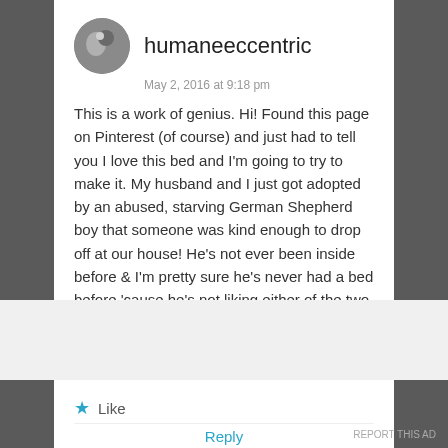humaneeccentric
May 2, 2016 at 9:18 pm
This is a work of genius. Hi! Found this page on Pinterest (of course) and just had to tell you I love this bed and I'm going to try to make it. My husband and I just got adopted by an abused, starving German Shepherd boy that someone was kind enough to drop off at our house! He's not ever been inside before & I'm pretty sure he's never had a bed before 'cause he's not liking either of the two beds we have for him...I'm hoping he'll love this awesome bed. Thank you for sharing these plans! Btw, Zoey is so cute!
Like
Reply
Advertisements